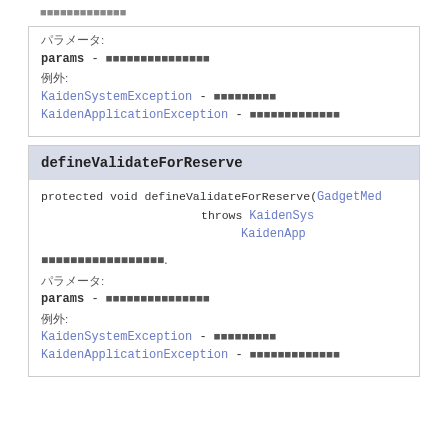パラメータ:
params - [description]
例外:
KaidenSystemException - [description]
KaidenApplicationException - [description]
defineValidateForReserve
protected void defineValidateForReserve(GadgetMe... throws KaidenSys... KaidenApp...
[description].
パラメータ:
params - [description]
例外:
KaidenSystemException - [description]
KaidenApplicationException - [description]